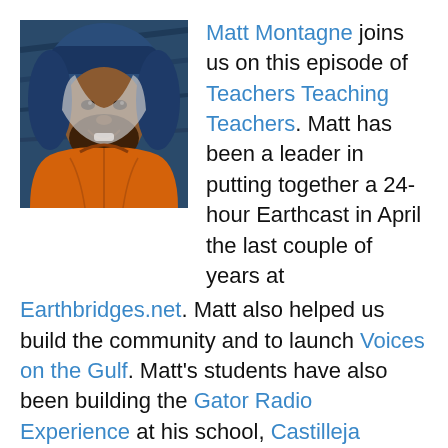[Figure (illustration): Illustrated/stylized photo of Matt Montagne wearing an orange jacket and blue hat, outdoors against a dark blue background.]
Matt Montagne joins us on this episode of Teachers Teaching Teachers. Matt has been a leader in putting together a 24-hour Earthcast in April the last couple of years at Earthbridges.net. Matt also helped us build the community and to launch Voices on the Gulf. Matt’s students have also been building the Gator Radio Experience at his school, Castilleja School.
Please join Matt, Peggy George and others as we try to build some curriculum together, looking toward Earth Day 2011. Here’s the